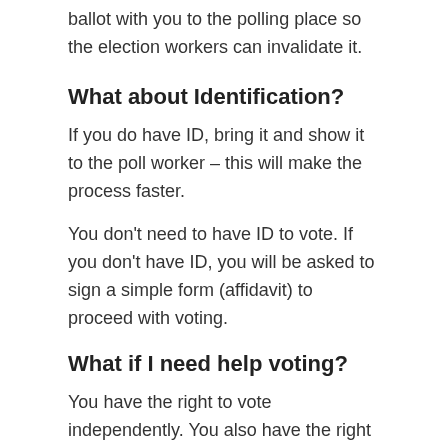ballot with you to the polling place so the election workers can invalidate it.
What about Identification?
If you do have ID, bring it and show it to the poll worker – this will make the process faster.
You don't need to have ID to vote. If you don't have ID, you will be asked to sign a simple form (affidavit) to proceed with voting.
What if I need help voting?
You have the right to vote independently. You also have the right to ask for help.
If you want to use the accessible voting machine, tell the election official as soon as you arrive.